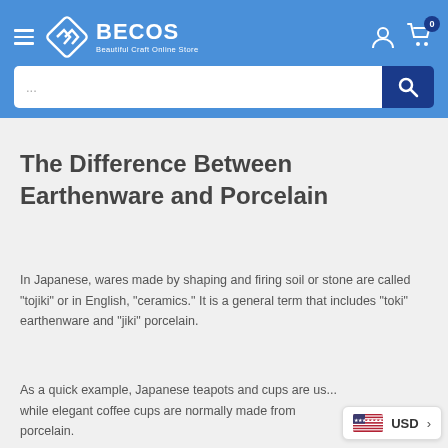[Figure (screenshot): BECOS (Beautiful Craft Online Store) website header with blue background, hamburger menu, diamond logo, account and cart icons]
The Difference Between Earthenware and Porcelain
In Japanese, wares made by shaping and firing soil or stone are called "tojiki" or in English, "ceramics." It is a general term that includes "toki" earthenware and "jiki" porcelain.
As a quick example, Japanese teapots and cups are us... while elegant coffee cups are normally made from porcelain.